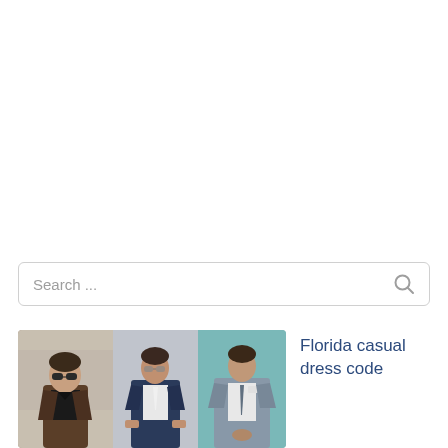[Figure (screenshot): Search bar UI element with placeholder text 'Search ...' and a search icon on the right]
[Figure (photo): Three men in smart casual and formal attire: first man in brown jacket and sunglasses, second in navy suit adjusting cuffs, third in grey suit against teal background]
Florida casual dress code